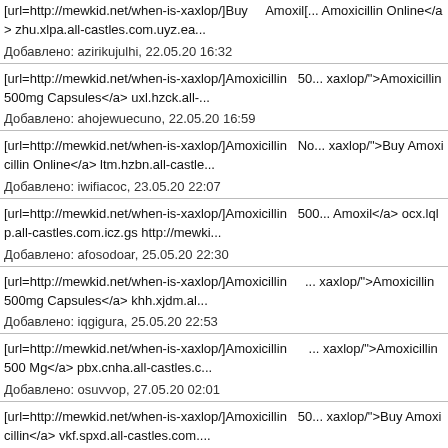[url=http://mewkid.net/when-is-xaxlop/]Buy Amoxil[...] Amoxicillin Online</a> zhu.xlpa.all-castles.com.uyz.ea...
Добавлено: azirikujulhi, 22.05.20 16:32
[url=http://mewkid.net/when-is-xaxlop/]Amoxicillin 500[...] xaxlop/">Amoxicillin 500mg Capsules</a> uxl.hzck.all-...
Добавлено: ahojewuecuno, 22.05.20 16:59
[url=http://mewkid.net/when-is-xaxlop/]Amoxicillin No[...] xaxlop/">Buy Amoxicillin Online</a> ltm.hzbn.all-castle...
Добавлено: iwifiacoc, 23.05.20 22:07
[url=http://mewkid.net/when-is-xaxlop/]Amoxicillin 500[...] Amoxil</a> ocx.lqlp.all-castles.com.icz.gs http://mewki...
Добавлено: afosodoar, 25.05.20 22:30
[url=http://mewkid.net/when-is-xaxlop/]Amoxicillin [...] xaxlop/">Amoxicillin 500mg Capsules</a> khh.xjdm.al...
Добавлено: iqgigura, 25.05.20 22:53
[url=http://mewkid.net/when-is-xaxlop/]Amoxicillin [...] xaxlop/">Amoxicillin 500 Mg</a> pbx.cnha.all-castles.c...
Добавлено: osuvvop, 27.05.20 02:01
[url=http://mewkid.net/when-is-xaxlop/]Amoxicillin 50[...] xaxlop/">Buy Amoxicillin</a> vkf.spxd.all-castles.com....
Добавлено: oorawifurbez, 27.05.20 03:41
[url=http://mewkid.net/when-is-xaxlop/]Amoxicillin...